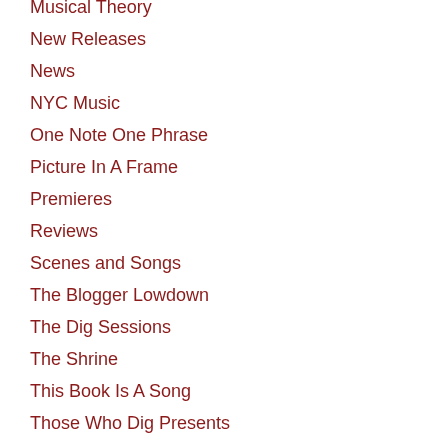Musical Theory
New Releases
News
NYC Music
One Note One Phrase
Picture In A Frame
Premieres
Reviews
Scenes and Songs
The Blogger Lowdown
The Dig Sessions
The Shrine
This Book Is A Song
Those Who Dig Presents
Throwbacks
Top Five
Tours!
Tuneage
Uncategorized